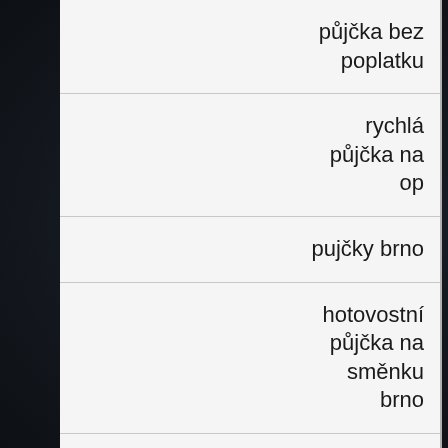půjčka bez poplatku
rychlá půjčka na op
pujčky brno
hotovostní půjčka na směnku brno
nebankovni pujcka pro slovaky brno